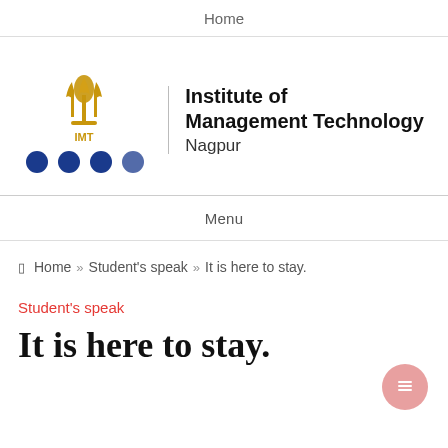Home
[Figure (logo): IMT Nagpur logo: golden trident/flame symbol with text 'Institute of Management Technology Nagpur' and four navy blue dots below]
Menu
Home » Student's speak » It is here to stay.
Student's speak
It is here to stay.